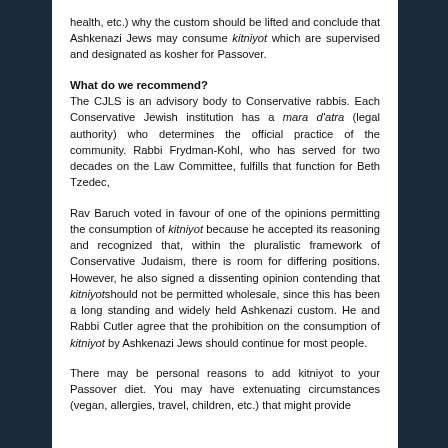health, etc.) why the custom should be lifted and conclude that Ashkenazi Jews may consume kitniyot which are supervised and designated as kosher for Passover.
What do we recommend?
The CJLS is an advisory body to Conservative rabbis. Each Conservative Jewish institution has a mara d'atra (legal authority) who determines the official practice of the community. Rabbi Frydman-Kohl, who has served for two decades on the Law Committee, fulfills that function for Beth Tzedec,
Rav Baruch voted in favour of one of the opinions permitting the consumption of kitniyot because he accepted its reasoning and recognized that, within the pluralistic framework of Conservative Judaism, there is room for differing positions. However, he also signed a dissenting opinion contending that kitniyotshould not be permitted wholesale, since this has been a long standing and widely held Ashkenazi custom. He and Rabbi Cutler agree that the prohibition on the consumption of kitniyot by Ashkenazi Jews should continue for most people.
There may be personal reasons to add kitniyot to your Passover diet. You may have extenuating circumstances (vegan, allergies, travel, children, etc.) that might provide